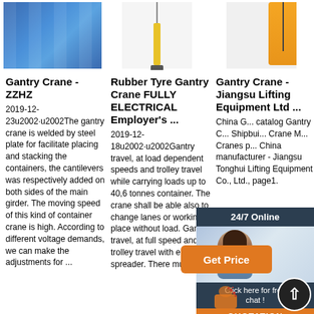[Figure (photo): Warehouse interior with blue storage racks and equipment]
[Figure (photo): Electric hoist tool with yellow body hanging vertically]
[Figure (photo): Orange/yellow gantry crane arm with cable]
Gantry Crane - ZZHZ
2019-12-23u2002·u2002The gantry crane is welded by steel plate for facilitate placing and stacking the containers, the cantilevers was respectively added on both sides of the main girder. The moving speed of this kind of container crane is high. According to different voltage demands, we can make the adjustments for ...
Rubber Tyre Gantry Crane FULLY ELECTRICAL Employer's ...
2019-12-18u2002·u2002Gantry travel, at load dependent speeds and trolley travel while carrying loads up to 40,6 tonnes container. The crane shall be able also to change lanes or working place without load. Gantry travel, at full speed and trolley travel with empty spreader. There must
Gantry Crane - Jiangsu Lifting Equipment Ltd ...
China Gantry crane catalog of Gantry Crane, Shipbuilding Crane M... Cranes from China manufacturer - Jiangsu Tonghui Lifting Equipment Co., Ltd., page1.
[Figure (screenshot): 24/7 Online chat widget with woman wearing headset, Click here for free chat button, QUOTATION button, and Get Price button]